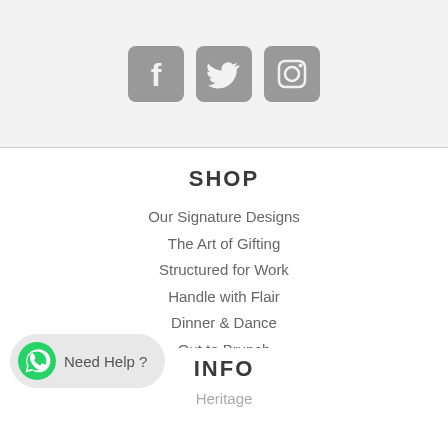[Figure (illustration): Three social media icons: Facebook, Twitter, Instagram in gray rounded square style]
SHOP
Our Signature Designs
The Art of Gifting
Structured for Work
Handle with Flair
Dinner & Dance
Out to Brunch
Explore the World
Double Act
[Figure (illustration): WhatsApp button with green WhatsApp icon and text 'Need Help ?']
INFO
Heritage